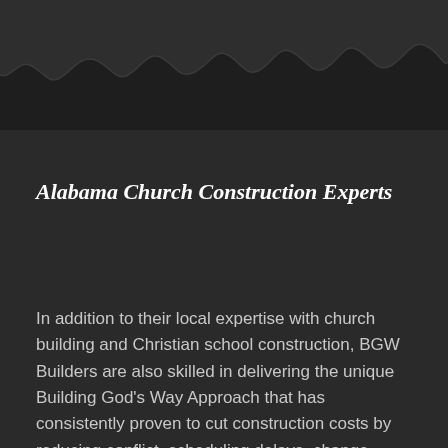[Figure (illustration): Dark torn paper edge effect at the top of the page, showing a ragged silhouette against a dark background, creating a layered depth effect.]
Alabama Church Construction Experts
In addition to their local expertise with church building and Christian school construction, BGW Builders are also skilled in delivering the unique Building God’s Way Approach that has consistently proven to cut construction costs by reducing conflict, scheduling delays, change orders and product mark-up. Through a unique series of